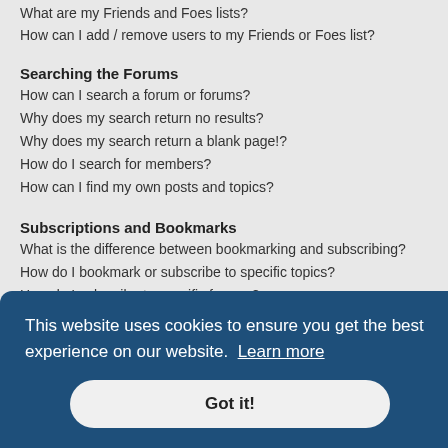What are my Friends and Foes lists?
How can I add / remove users to my Friends or Foes list?
Searching the Forums
How can I search a forum or forums?
Why does my search return no results?
Why does my search return a blank page!?
How do I search for members?
How can I find my own posts and topics?
Subscriptions and Bookmarks
What is the difference between bookmarking and subscribing?
How do I bookmark or subscribe to specific topics?
How do I subscribe to specific forums?
How do I remove my subscriptions?
Attachments
phpBB Issues
Who wrote this bulletin board?
Why isn't X feature available?
Who do I contact about abusive and/or legal matters related to this board?
This website uses cookies to ensure you get the best experience on our website.  Learn more
Got it!